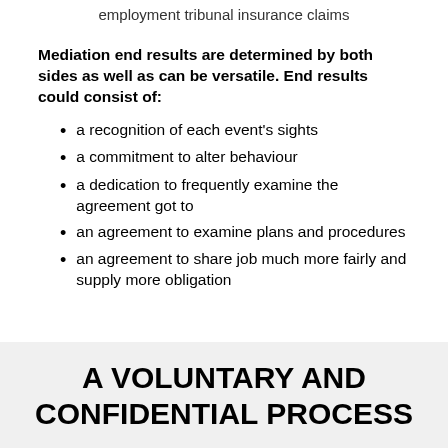employment tribunal insurance claims
Mediation end results are determined by both sides as well as can be versatile. End results could consist of:
a recognition of each event's sights
a commitment to alter behaviour
a dedication to frequently examine the agreement got to
an agreement to examine plans and procedures
an agreement to share job much more fairly and supply more obligation
A VOLUNTARY AND CONFIDENTIAL PROCESS